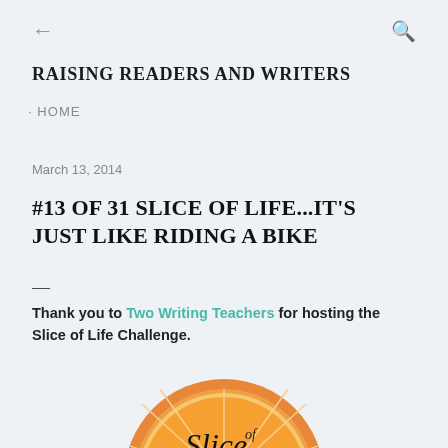← (back arrow)  🔍 (search icon)
RAISING READERS AND WRITERS
· HOME
March 13, 2014
#13 OF 31 SLICE OF LIFE...IT'S JUST LIKE RIDING A BIKE
—
Thank you to Two Writing Teachers for hosting the Slice of Life Challenge.
[Figure (illustration): Orange citrus slice image with the word 'Slice' written across it in black italic text, partially cut off at the bottom of the page]